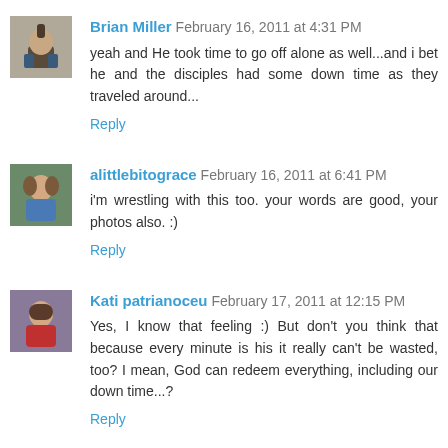[Figure (photo): Avatar photo of Brian Miller - man with mohawk]
Brian Miller February 16, 2011 at 4:31 PM
yeah and He took time to go off alone as well...and i bet he and the disciples had some down time as they traveled around...
Reply
[Figure (photo): Avatar photo of alittlebitograce - woman in blue]
alittlebitograce February 16, 2011 at 6:41 PM
i'm wrestling with this too. your words are good, your photos also. :)
Reply
[Figure (photo): Avatar photo of Kati patrianoceu - woman with red]
Kati patrianoceu February 17, 2011 at 12:15 PM
Yes, I know that feeling :) But don't you think that because every minute is his it really can't be wasted, too? I mean, God can redeem everything, including our down time...?
Reply